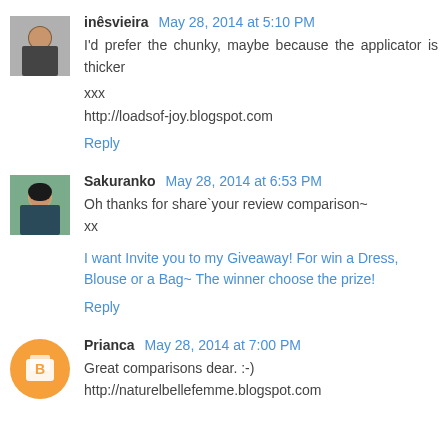inêsvieira May 28, 2014 at 5:10 PM
I'd prefer the chunky, maybe because the applicator is thicker
xxx
http://loadsof-joy.blogspot.com
Reply
Sakuranko May 28, 2014 at 6:53 PM
Oh thanks for share`your review comparison~
xx
I want Invite you to my Giveaway! For win a Dress, Blouse or a Bag~ The winner choose the prize!
Reply
Prianca May 28, 2014 at 7:00 PM
Great comparisons dear. :-)
http://naturelbellefemme.blogspot.com